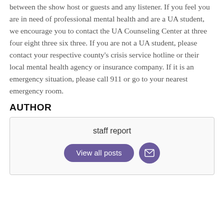between the show host or guests and any listener. If you feel you are in need of professional mental health and are a UA student, we encourage you to contact the UA Counseling Center at three four eight three six three. If you are not a UA student, please contact your respective county's crisis service hotline or their local mental health agency or insurance company. If it is an emergency situation, please call 911 or go to your nearest emergency room.
AUTHOR
staff report
View all posts